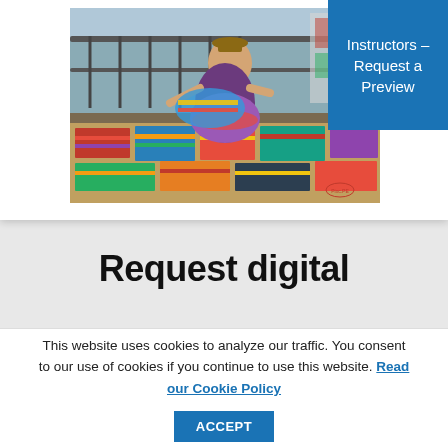[Figure (photo): A woman in traditional Andean clothing (hat, colorful skirt) sitting outdoors at a market, surrounded by colorful woven textiles and fabrics laid out for sale, with a railing and outdoor scenery in background.]
Instructors – Request a Preview
Request digital
This website uses cookies to analyze our traffic. You consent to our use of cookies if you continue to use this website. Read our Cookie Policy
ACCEPT